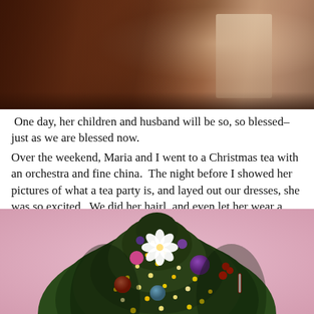[Figure (photo): Top portion of a photo showing dark wooden furniture/cabinet with warm reddish-brown tones and a decorative item on the right side]
One day, her children and husband will be so, so blessed–just as we are blessed now.
Over the weekend, Maria and I went to a Christmas tea with an orchestra and fine china.  The night before I showed her pictures of what a tea party is, and layed out our dresses, she was so excited.  We did her hairl, and even let her wear a pearl necklace, she felt so special.
[Figure (photo): Bottom portion of a decorated Christmas tree with colorful ornaments, white poinsettia flower, lights, against a pink background]